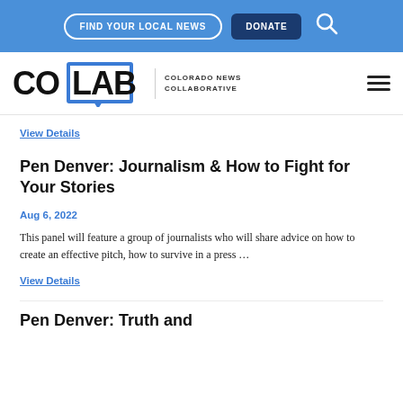FIND YOUR LOCAL NEWS | DONATE | [search icon]
[Figure (logo): CoLab Colorado News Collaborative logo with blue box around LAB and hamburger menu icon]
View Details
Pen Denver: Journalism & How to Fight for Your Stories
Aug 6, 2022
This panel will feature a group of journalists who will share advice on how to create an effective pitch, how to survive in a press …
View Details
Pen Denver: Truth and